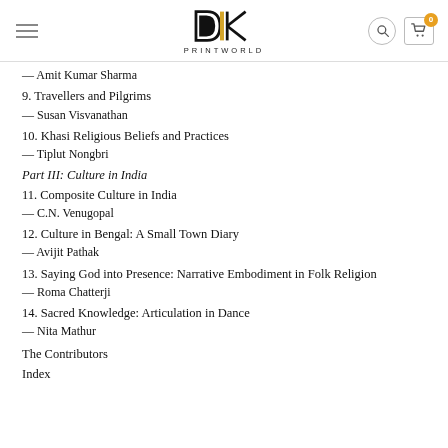[Figure (logo): DK Printworld logo with hamburger menu, search icon, and cart icon with badge showing 0]
— Amit Kumar Sharma
9. Travellers and Pilgrims
— Susan Visvanathan
10. Khasi Religious Beliefs and Practices
— Tiplut Nongbri
Part III: Culture in India
11. Composite Culture in India
— C.N. Venugopal
12. Culture in Bengal: A Small Town Diary
— Avijit Pathak
13. Saying God into Presence: Narrative Embodiment in Folk Religion
— Roma Chatterji
14. Sacred Knowledge: Articulation in Dance
— Nita Mathur
The Contributors
Index